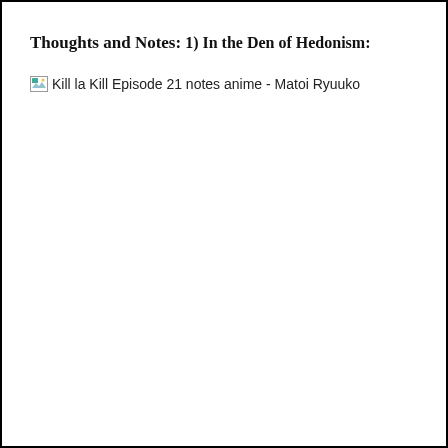Thoughts and Notes:
1) In the Den of Hedonism:
[Figure (photo): Broken image placeholder with alt text: Kill la Kill Episode 21 notes anime - Matoi Ryuuko]